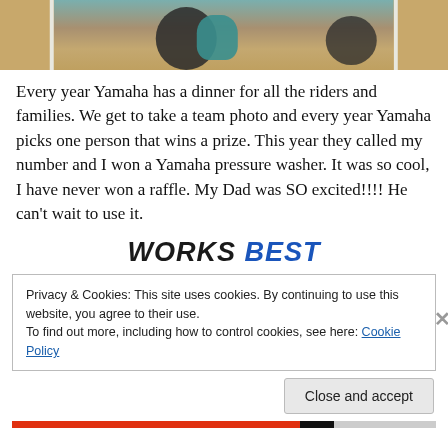[Figure (photo): Top portion of a photo showing what appears to be a dirt bike or motorcycle wheel area with hay/straw on the ground, and a person wearing a teal/turquoise helmet or bag visible]
Every year Yamaha has a dinner for all the riders and families.  We get to take a team photo and every year Yamaha picks one person that wins a prize.  This year they called my number and I won a Yamaha pressure washer.  It was so cool, I have never won a raffle.  My Dad was SO excited!!!!  He can't wait to use it.
[Figure (logo): Works Best logo text in bold italic uppercase letters, with 'WORKS' in dark/black and 'BEST' in blue]
Privacy & Cookies: This site uses cookies. By continuing to use this website, you agree to their use.
To find out more, including how to control cookies, see here: Cookie Policy
Close and accept